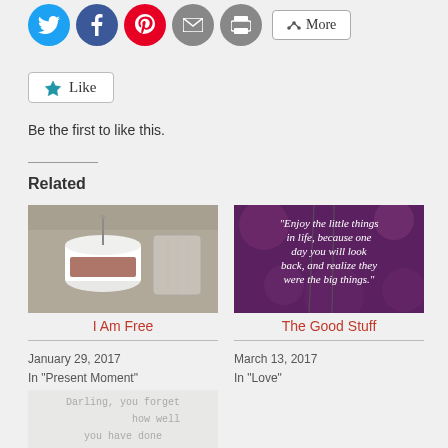[Figure (screenshot): Social media share buttons row: Twitter (blue circle), Facebook (blue circle), Pinterest (red circle), Email (grey circle), Print (grey circle), and a More button]
[Figure (screenshot): Like button widget with star icon and text 'Like']
Be the first to like this.
Related
[Figure (photo): Photo of a white jar/candle with a metal stirrer and a glass container]
I Am Free
January 29, 2017
In "Present Moment"
[Figure (photo): Inspirational quote image on blurred background: "Enjoy the little things in life, because one day you will look back, and realize they were the big things."]
The Good Stuff
March 13, 2017
In "Love"
[Figure (photo): Text image reading: Darling, you forget how well you have done]